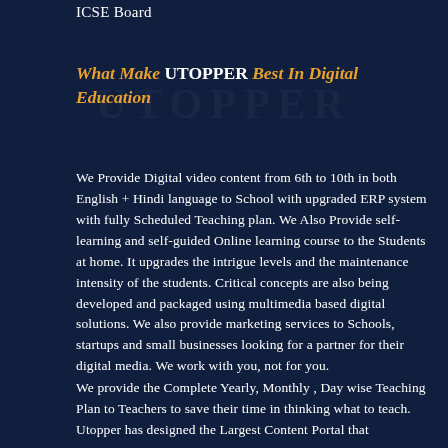ICSE Board
What Make UTOPPER Best In Digital Education
We Provide Digital video content from 6th to 10th in both English + Hindi language to School with upgraded ERP system with fully Scheduled Teaching plan. We Also Provide self-learning and self-guided Online learning course to the Students at home. It upgrades the intrigue levels and the maintenance intensity of the students. Critical concepts are also being developed and packaged using multimedia based digital solutions. We also provide marketing services to Schools, startups and small businesses looking for a partner for their digital media. We work with you, not for you.
We provide the Complete Yearly, Monthly , Day wise Teaching Plan to Teachers to save their time in thinking what to teach. Utopper has designed the Largest Content Portal that